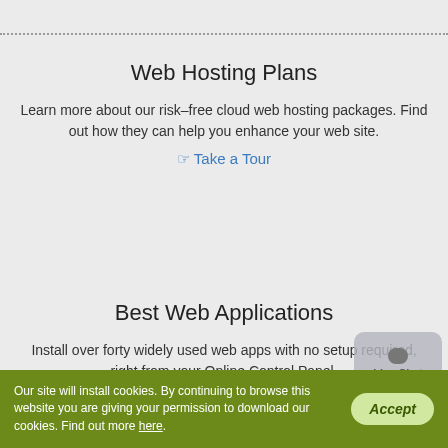Web Hosting Plans
Learn more about our risk–free cloud web hosting packages. Find out how they can help you enhance your web site.
☞ Take a Tour
Best Web Applications
Install over forty widely used web apps with no setup required, right from your Online Control Panel.
☞ Take a Tour
Our site will install cookies. By continuing to browse this website you are giving your permission to download our cookies. Find out more here.